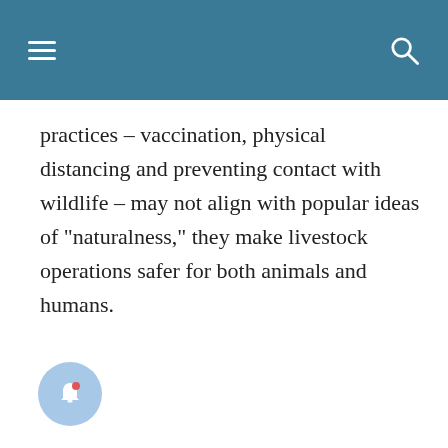practices – vaccination, physical distancing and preventing contact with wildlife – may not align with popular ideas of “naturalness,” they make livestock operations safer for both animals and humans.